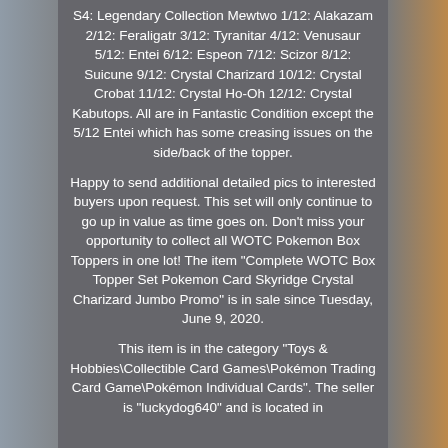S4: Legendary Collection Mewtwo 1/12: Alakazam 2/12: Feraligatr 3/12: Tyranitar 4/12: Venusaur 5/12: Entei 6/12: Espeon 7/12: Scizor 8/12: Suicune 9/12: Crystal Charizard 10/12: Crystal Crobat 11/12: Crystal Ho-Oh 12/12: Crystal Kabutops. All are in Fantastic Condition except the 5/12 Entei which has some creasing issues on the side/back of the topper.
Happy to send additional detailed pics to interested buyers upon request. This set will only continue to go up in value as time goes on. Don't miss your opportunity to collect all WOTC Pokemon Box Toppers in one lot! The item "Complete WOTC Box Topper Set Pokemon Card Skyridge Crystal Charizard Jumbo Promo" is in sale since Tuesday, June 9, 2020.
This item is in the category "Toys & Hobbies\Collectible Card Games\Pokémon Trading Card Game\Pokémon Individual Cards". The seller is "luckydog640" and is located in